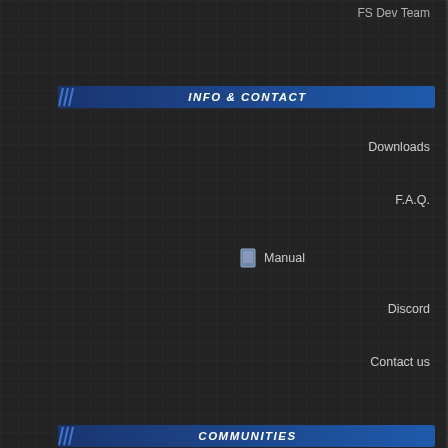FS Dev Team
INFO & CONTACT
Downloads
F.A.Q.
Manual
Discord
Contact us
COMMUNITIES
HELP URT
Donate
Join us
X Sponsored link
[Figure (infographic): HELP Urban Terror DONATE! donation banner with coins graphic]
| Group | Count |
| --- | --- |
| FS | 36 |
| Forums | 2 |
| QA | 33 |
| Affiliated | 118 |
| Registered | 173945 |
| Unregistered | 0 |
| All | 174134 |
first letter: all - a
No resul
No result fo
Countries:
2333  1736  958  583  535  500  493  442  398  392  341  273  270  246  247  246  194  158  130  128  128  118  110  103  92  88  84  88  67  65  65  64  61  59  59  45  44  42  39  38  38  36